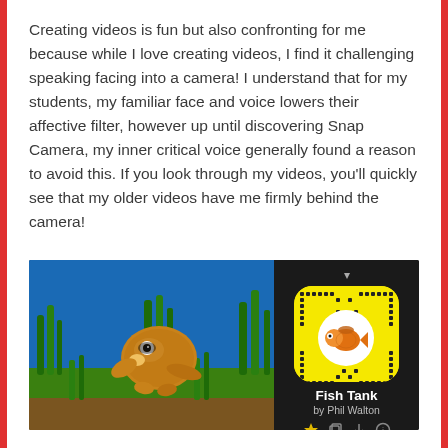Creating videos is fun but also confronting for me because while I love creating videos, I find it challenging speaking facing into a camera! I understand that for my students, my familiar face and voice lowers their affective filter, however up until discovering Snap Camera, my inner critical voice generally found a reason to avoid this. If you look through my videos, you'll quickly see that my older videos have me firmly behind the camera!
[Figure (screenshot): Screenshot showing a Snap Camera filter called 'Fish Tank by Phil Walton'. The left portion shows an animated fish character (potato-shaped with eyes and appendages) standing on grass in an underwater aquarium scene with blue background. The right panel shows the Snap Camera interface with the yellow Snapcode QR code containing a goldfish icon, the filter title 'Fish Tank', author 'by Phil Walton', and action icons (star, copy, download, info).]
However, Snap Camera is so quirky that being in front